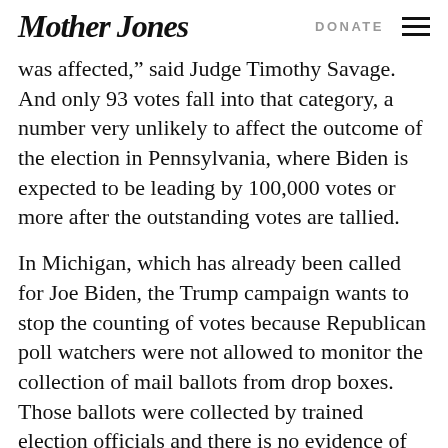Mother Jones | DONATE
was affected, said Judge Timothy Savage. And only 93 votes fall into that category, a number very unlikely to affect the outcome of the election in Pennsylvania, where Biden is expected to be leading by 100,000 votes or more after the outstanding votes are tallied.
In Michigan, which has already been called for Joe Biden, the Trump campaign wants to stop the counting of votes because Republican poll watchers were not allowed to monitor the collection of mail ballots from drop boxes. Those ballots were collected by trained election officials and there is no evidence of improprieties. On Thursday afternoon, a Michigan judge denied Trump's motion to stop